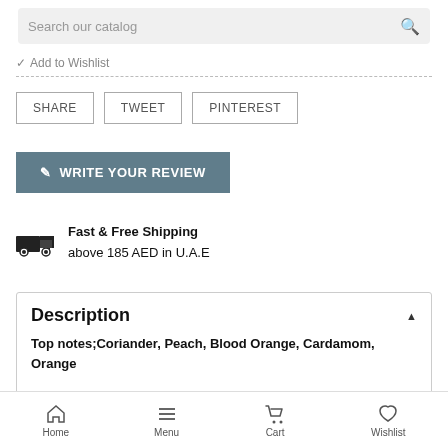Search our catalog
Add to Wishlist
SHARE  TWEET  PINTEREST
WRITE YOUR REVIEW
Fast & Free Shipping
above 185 AED in U.A.E
Description
Top notes;Coriander, Peach, Blood Orange, Cardamom, Orange
Home  Menu  Cart  Wishlist